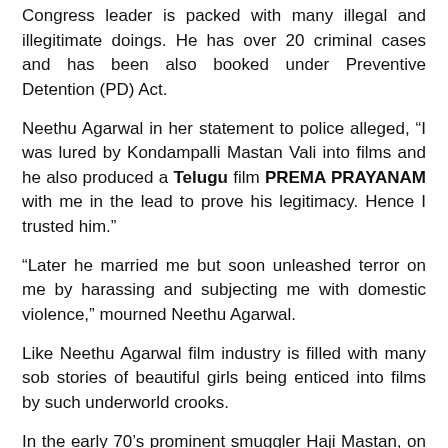Congress leader is packed with many illegal and illegitimate doings. He has over 20 criminal cases and has been also booked under Preventive Detention (PD) Act.
Neethu Agarwal in her statement to police alleged, “I was lured by Kondampalli Mastan Vali into films and he also produced a Telugu film PREMA PRAYANAM with me in the lead to prove his legitimacy. Hence I trusted him.”
“Later he married me but soon unleashed terror on me by harassing and subjecting me with domestic violence,” mourned Neethu Agarwal.
Like Neethu Agarwal film industry is filled with many sob stories of beautiful girls being enticed into films by such underworld crooks.
In the early 70’s prominent smuggler Haji Mastan, on whose life the movie ONCE UPON A TIME IN MUMBAI, was made had great passion for Bollywood. He had relation with an actress Sona, whom he promoted in films. Later he married her.